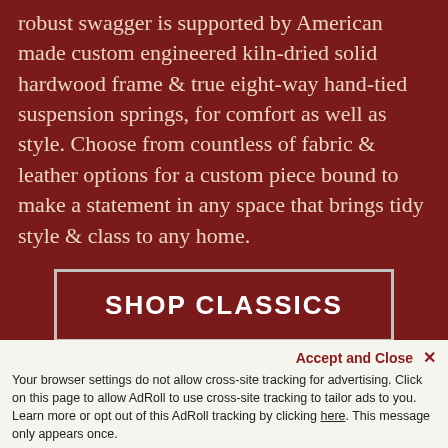robust swagger is supported by American made custom engineered kiln-dried solid hardwood frame & true eight-way hand-tied suspension springs, for comfort as well as style. Choose from countless of fabric & leather options for a custom piece bound to make a statement in any space that brings tidy style & class to any home.
SHOP CLASSICS
FEATURED CLASSIC STY...
Accept and Close ×
Your browser settings do not allow cross-site tracking for advertising. Click on this page to allow AdRoll to use cross-site tracking to tailor ads to you. Learn more or opt out of this AdRoll tracking by clicking here. This message only appears once.